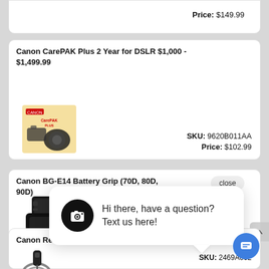Price: $149.99
Canon CarePAK Plus 2 Year for DSLR $1,000 - $1,499.99
[Figure (photo): Canon CarePAK Plus product box image showing a DSLR camera]
SKU: 9620B011AA
Price: $102.99
Canon BG-E14 Battery Grip (70D, 80D, 90D)
[Figure (photo): Canon BG-E14 Battery Grip product image]
[Figure (screenshot): Chat popup with camera icon saying: Hi there, have a question? Text us here!]
Canon Remote Switch RS-60E3
[Figure (photo): Canon Remote Switch RS-60E3 product image]
SKU: 2469A002